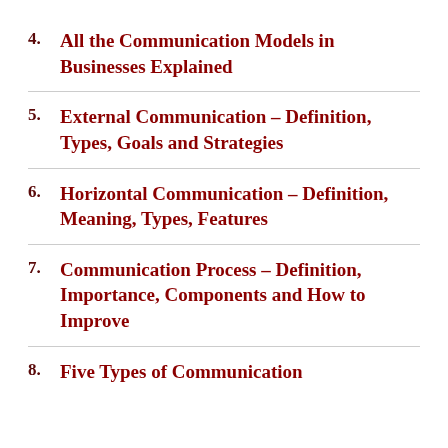4. All the Communication Models in Businesses Explained
5. External Communication – Definition, Types, Goals and Strategies
6. Horizontal Communication – Definition, Meaning, Types, Features
7. Communication Process – Definition, Importance, Components and How to Improve
8. Five Types of Communication